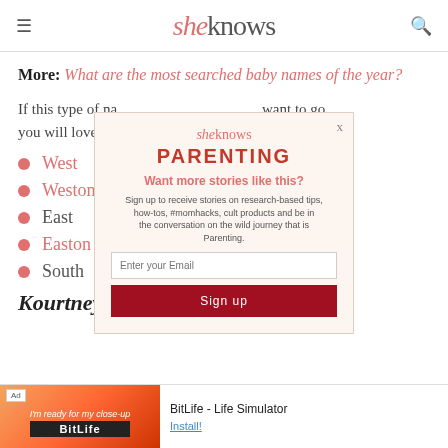sheknows
More: What are the most searched baby names of the year?
If this type of na... want to go, you will love the...
West
Weston
East
Easton
South
Kourtney's unique, yet trendy
[Figure (screenshot): SheKnows Parenting newsletter signup modal overlay with email input and Sign up button]
[Figure (screenshot): BitLife - Life Simulator advertisement banner at bottom of page]